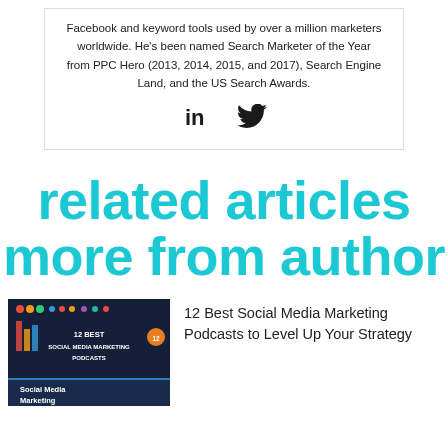Facebook and keyword tools used by over a million marketers worldwide. He's been named Search Marketer of the Year from PPC Hero (2013, 2014, 2015, and 2017), Search Engine Land, and the US Search Awards.
[Figure (infographic): LinkedIn and Twitter social media icons]
related articles
more from author
[Figure (photo): Thumbnail image for '12 Best Social Media Marketing Podcasts to Level Up Your Strategy' article, showing a dark blue background with text '12 BEST SOCIAL MEDIA MARKETING PODCASTS' and 'Social Media Marketing' label at bottom]
12 Best Social Media Marketing Podcasts to Level Up Your Strategy